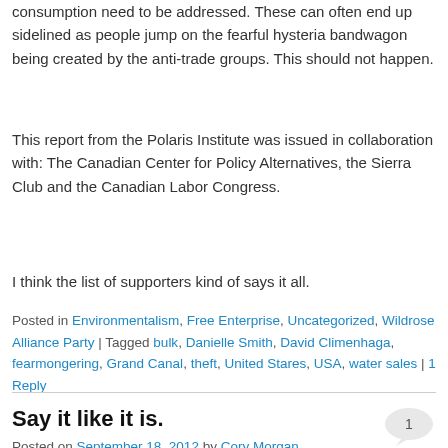consumption need to be addressed. These can often end up sidelined as people jump on the fearful hysteria bandwagon being created by the anti-trade groups. This should not happen.
This report from the Polaris Institute was issued in collaboration with: The Canadian Center for Policy Alternatives, the Sierra Club and the Canadian Labor Congress.
I think the list of supporters kind of says it all.
Posted in Environmentalism, Free Enterprise, Uncategorized, Wildrose Alliance Party | Tagged bulk, Danielle Smith, David Climenhaga, fearmongering, Grand Canal, theft, United Stares, USA, water sales | 1 Reply
Say it like it is.
Posted on September 18, 2012 by Cory Morgan